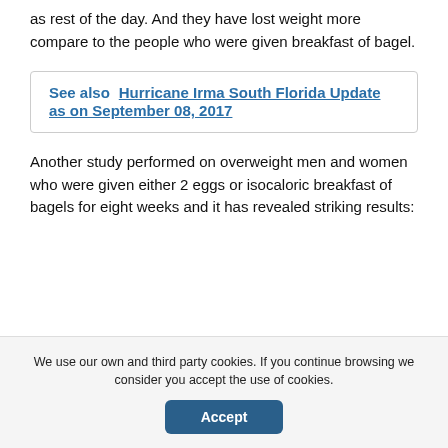as rest of the day. And they have lost weight more compare to the people who were given breakfast of bagel.
See also  Hurricane Irma South Florida Update as on September 08, 2017
Another study performed on overweight men and women who were given either 2 eggs or isocaloric breakfast of bagels for eight weeks and it has revealed striking results:
We use our own and third party cookies. If you continue browsing we consider you accept the use of cookies.